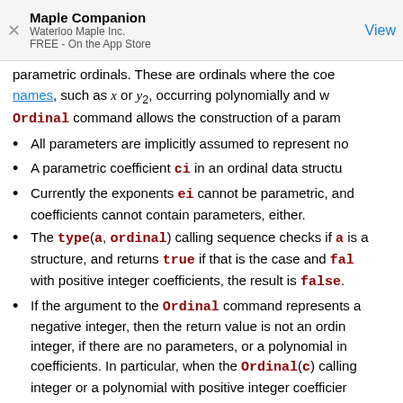Maple Companion
Waterloo Maple Inc.
FREE - On the App Store
parametric ordinals. These are ordinals where the coe names, such as x or y2, occurring polynomially and w Ordinal command allows the construction of a param
All parameters are implicitly assumed to represent no
A parametric coefficient ci in an ordinal data structu
Currently the exponents ei cannot be parametric, and coefficients cannot contain parameters, either.
The type(a, ordinal) calling sequence checks if a is a structure, and returns true if that is the case and fal with positive integer coefficients, the result is false.
If the argument to the Ordinal command represents a negative integer, then the return value is not an ordin integer, if there are no parameters, or a polynomial in coefficients. In particular, when the Ordinal(c) calling integer or a polynomial with positive integer coefficier